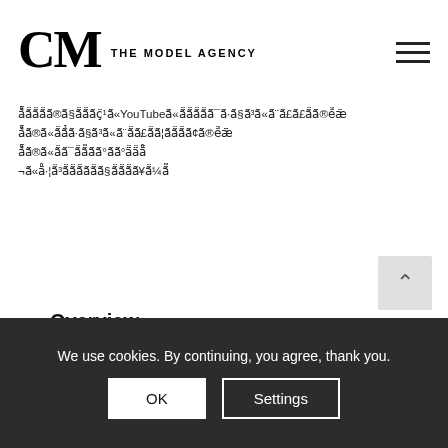CM THE MODEL AGENCY
å̈ã̈ã̈ã̈ã̈®ã̈§ã̈ã̈ã̈ç̈¹ã̈«YouTubeã̈«ã̈ã̈ã̈ã̈¯ã̈·ã̈§ã̈³ã̈«ã̈¨ã̈£ã̈¦ã̈¦ã̈¢ã̈®é̈æ̈ å̈ã̈®ã̈«ã̈ã̈¯ã̈¯ã̈ã̈ã̈°ã̈ã̈°ä̈»ä̈ºå̈ ¬ã̈«å̈·¦ã̈³ã̈ã̈ã̈ã̈ã̈ã̈§ã̈ã̈ã̈ã̈¥ã̈¼ã̈
Overview [ hide ]
1
2
3
4
5
We use cookies. By continuing, you agree, thank you.